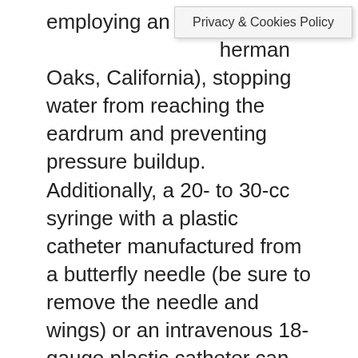employing an ear flushing device (Sherman Oaks, California), stopping water from reaching the eardrum and preventing pressure buildup. Additionally, a 20- to 30-cc syringe with a plastic catheter manufactured from a butterfly needle (be sure to remove the needle and wings) or an intravenous 18-gauge plastic catheter can be used to create an irrigation system. 19 Whichever irrigation technology is used, the irrigation fluid should be at body temperature to avoid a caloric reflex reaction.
Suppose I do not examine with a cotton swab. How am I to determine if I have earwax, or any earwax, within reach of a fingernail without visiting a doctor or employing an earwax remover? Do you make an effort to locate someone willing to look? Can someone see the interior of an ear to the eardrum